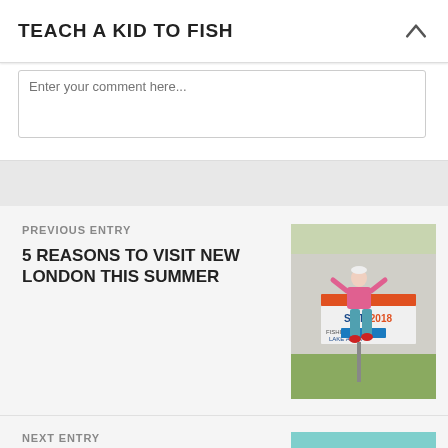TEACH A KID TO FISH
Enter your comment here...
PREVIOUS ENTRY
5 REASONS TO VISIT NEW LONDON THIS SUMMER
[Figure (photo): Woman jumping in front of a Minnesota 2018 Fishing Opener banner sign]
NEXT ENTRY
HOW I PLAN MY MINNESOTA CAMPING TRIPS
[Figure (photo): Woman at a camping table near a blue/teal camper]